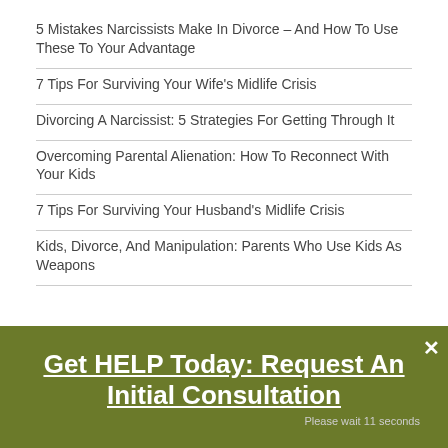5 Mistakes Narcissists Make In Divorce – And How To Use These To Your Advantage
7 Tips For Surviving Your Wife's Midlife Crisis
Divorcing A Narcissist: 5 Strategies For Getting Through It
Overcoming Parental Alienation: How To Reconnect With Your Kids
7 Tips For Surviving Your Husband's Midlife Crisis
Kids, Divorce, And Manipulation: Parents Who Use Kids As Weapons
Get HELP Today: Request An Initial Consultation
Please wait 11 seconds